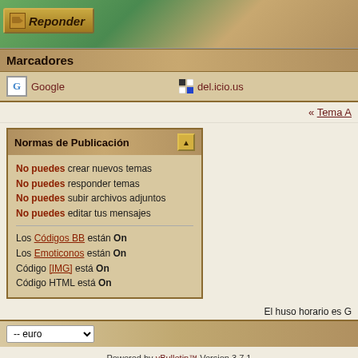[Figure (screenshot): Top banner with green/tan background and Reponder button]
Marcadores
Google   del.icio.us
« Tema A
Normas de Publicación
No puedes crear nuevos temas
No puedes responder temas
No puedes subir archivos adjuntos
No puedes editar tus mensajes
Los Códigos BB están On
Los Emoticonos están On
Código [IMG] está On
Código HTML está On
El huso horario es G
-- euro
Powered by vBulletin™ Version 3.7.1
Copyright © 2022 vBulletin Solutions, Inc. All rights reserved.
Traducción por vBHispano